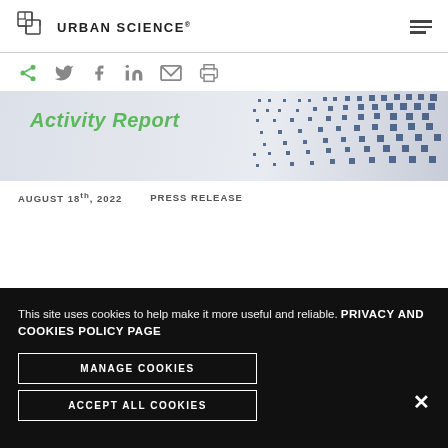URBAN SCIENCE
[Figure (logo): Urban Science logo — geometric cube icon with text 'URBAN SCIENCE']
[Figure (infographic): Share bar with icons: share (green), Twitter, Facebook, LinkedIn, email, print]
[Figure (screenshot): Banner image showing 'Activity Report' in green italic text on a light background with blue dot matrix pattern on the right]
AUGUST 18th, 2022    PRESS RELEASE
This site uses cookies to help make it more useful and reliable.  PRIVACY AND COOKIES POLICY PAGE
MANAGE COOKIES
ACCEPT ALL COOKIES